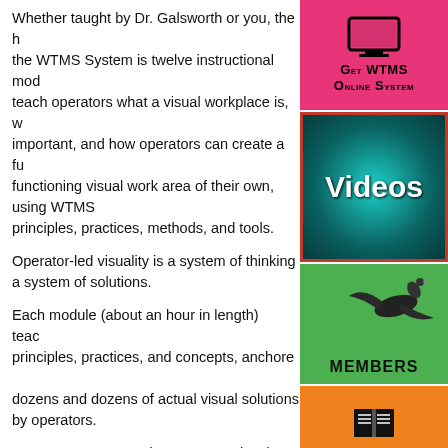Whether taught by Dr. Galsworth or you, the heart of the WTMS System is twelve instructional modules that teach operators what a visual workplace is, why it is important, and how operators can create a fully functioning visual work area of their own, using WTMS principles, practices, methods, and tools.
Operator-led visuality is a system of thinking as much as a system of solutions.
Each module (about an hour in length) teaches the principles, practices, and concepts, anchored to dozens and dozens of actual visual solutions created by operators.
Our system contains over 900 visual devices and visual mini-systems.
Paced across each module is a series of hands-on exercises to anchor the learning and ensure
[Figure (infographic): Get WTMS Online System button - pink/red background with monitor icon]
[Figure (infographic): Videos button - teal radial gradient background with Videos text]
[Figure (infographic): Members button - green background with flying goose image and MEMBERS label]
[Figure (infographic): Get The Guide button - orange background with book icon, GET THE GUIDE text]